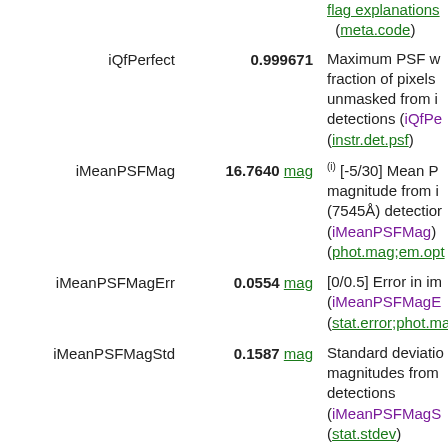flag explanations (meta.code)
iQfPerfect | 0.999671 | Maximum PSF weighted fraction of pixels unmasked from i detections (iQfPerfect) (instr.det.psf)
iMeanPSFMag | 16.7640 mag | (i) [-5/30] Mean PSF magnitude from i (7545Å) detections (iMeanPSFMag) (phot.mag;em.opt)
iMeanPSFMagErr | 0.0554 mag | [0/0.5] Error in iMeanPSFMagErr (stat.error;phot.mag)
iMeanPSFMagStd | 0.1587 mag | Standard deviation of magnitudes from i detections (iMeanPSFMagStd) (stat.stdev)
iMeanPSFMagNpt | 6 | [0/85] Number of measurements included in mean PSF magnitude filter detections